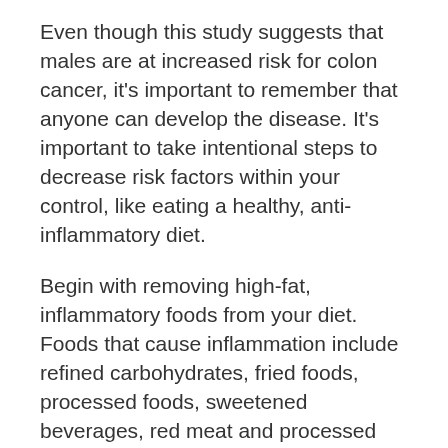Even though this study suggests that males are at increased risk for colon cancer, it's important to remember that anyone can develop the disease. It's important to take intentional steps to decrease risk factors within your control, like eating a healthy, anti-inflammatory diet.
Begin with removing high-fat, inflammatory foods from your diet. Foods that cause inflammation include refined carbohydrates, fried foods, processed foods, sweetened beverages, red meat and processed meat.
Then, replace inflammatory foods with fresh, nutritious foods that fight inflammation. Here is a list of several foods that do not cause inflammation.